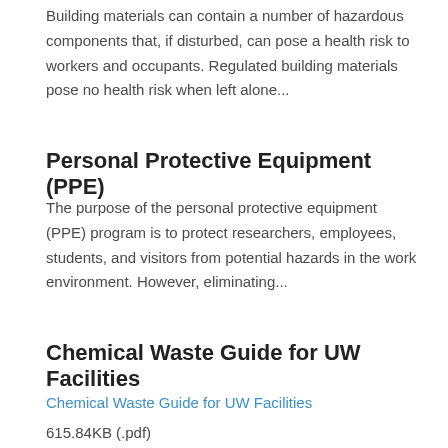Building materials can contain a number of hazardous components that, if disturbed, can pose a health risk to workers and occupants. Regulated building materials pose no health risk when left alone...
Personal Protective Equipment (PPE)
The purpose of the personal protective equipment (PPE) program is to protect researchers, employees, students, and visitors from potential hazards in the work environment. However, eliminating...
Chemical Waste Guide for UW Facilities
Chemical Waste Guide for UW Facilities
615.84KB (.pdf)